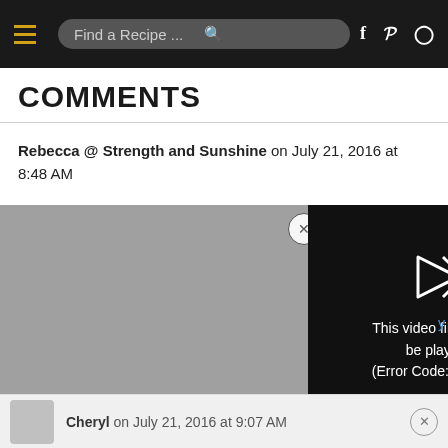Find a Recipe ...
COMMENTS
Rebecca @ Strength and Sunshine on July 21, 2016 at 8:48 AM
This is how I ... year ☺
[Figure (screenshot): Video player showing error: 'This video file cannot be played. (Error Code: 224003)']
Cheryl on July 21, 2016 at 9:07 AM